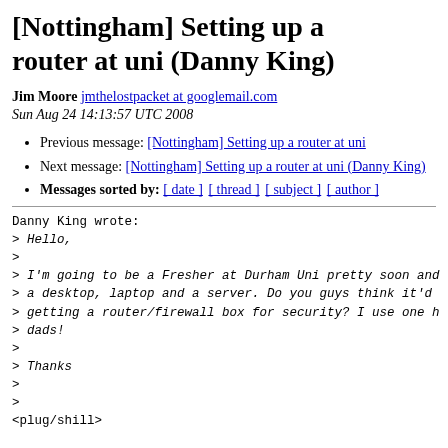[Nottingham] Setting up a router at uni (Danny King)
Jim Moore jmthelostpacket at googlemail.com
Sun Aug 24 14:13:57 UTC 2008
Previous message: [Nottingham] Setting up a router at uni
Next message: [Nottingham] Setting up a router at uni (Danny King)
Messages sorted by: [ date ] [ thread ] [ subject ] [ author ]
Danny King wrote:
> Hello,
>
> I'm going to be a Fresher at Durham Uni pretty soon and
> a desktop, laptop and a server. Do you guys think it'd
> getting a router/firewall box for security? I use one h
> dads!
>
> Thanks
>
>
<plug/shill>